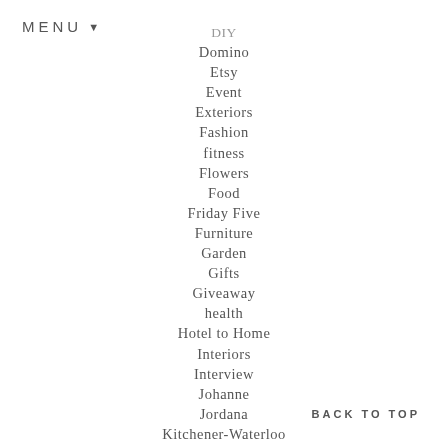MENU ▼
DIY
Domino
Etsy
Event
Exteriors
Fashion
fitness
Flowers
Food
Friday Five
Furniture
Garden
Gifts
Giveaway
health
Hotel to Home
Interiors
Interview
Johanne
Jordana
Kitchener-Waterloo
London – Ontario
BACK TO TOP